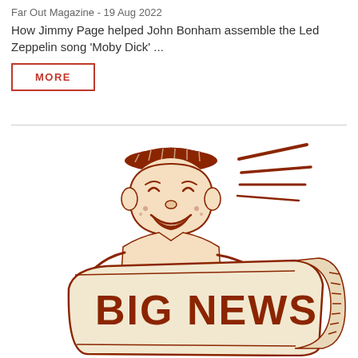Far Out Magazine - 19 Aug 2022
How Jimmy Page helped John Bonham assemble the Led Zeppelin song 'Moby Dick' ...
MORE
[Figure (illustration): Retro cartoon illustration of a newsboy holding a newspaper with 'BIG NEWS' printed on it, drawn in brown/dark red ink on cream background. Motion lines behind the boy suggest excitement.]